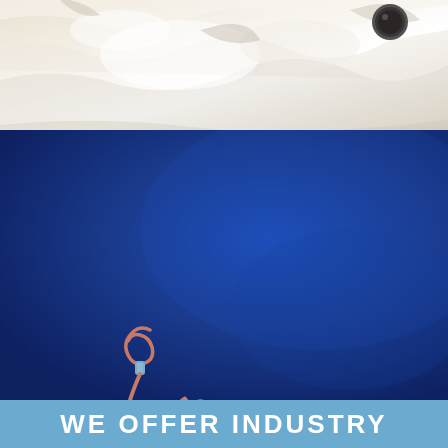[Figure (photo): Top portion showing white crumpled fabric/towel with a dark round object (possibly a button or puck) visible in the upper right corner against a light background.]
[Figure (photo): Large dark navy blue background with a copper/rose-gold colored dog leash arranged to form the shape of a cat silhouette in the center-left area of the image.]
WE OFFER INDUSTRY